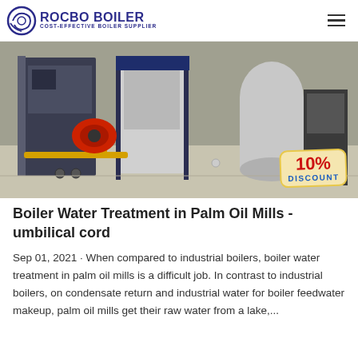ROCBO BOILER · COST-EFFECTIVE BOILER SUPPLIER
[Figure (photo): Industrial boilers in a factory setting with a red burner unit visible and a yellow gas pipe. A '10% DISCOUNT' badge appears in the bottom right corner of the image.]
Boiler Water Treatment in Palm Oil Mills - umbilical cord
Sep 01, 2021 · When compared to industrial boilers, boiler water treatment in palm oil mills is a difficult job. In contrast to industrial boilers, on condensate return and industrial water for boiler feedwater makeup, palm oil mills get their raw water from a lake,...